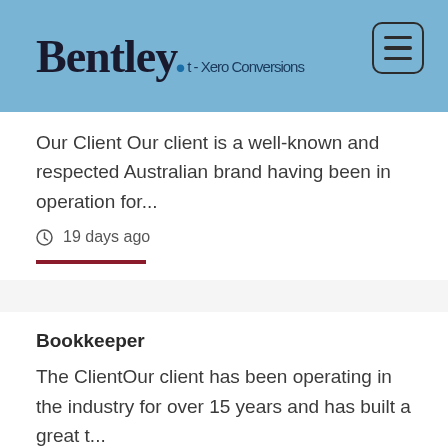Bentley. - Xero Conversions
Our Client Our client is a well-known and respected Australian brand having been in operation for...
19 days ago
Bookkeeper
The ClientOur client has been operating in the industry for over 15 years and has built a great t...
15 days ago